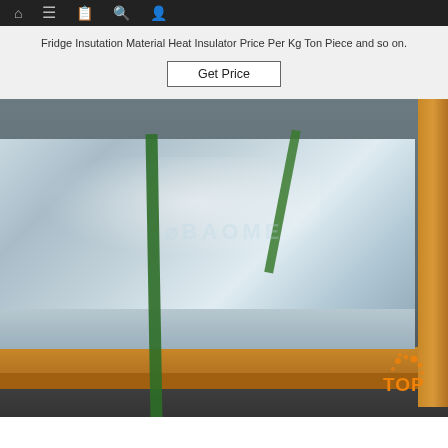Navigation bar with icons
Fridge Insutation Material Heat Insulator Price Per Kg Ton Piece and so on.
Get Price
[Figure (photo): Product photo of wrapped insulation foam board/slab on a cardboard pallet with wooden beam, secured with green straps. Watermark BAOME visible. Orange TOP badge in bottom right corner.]